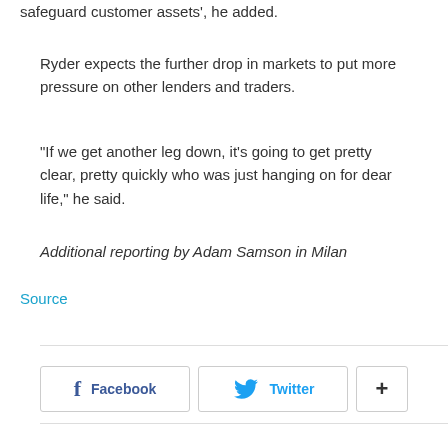safeguard customer assets', he added.
Ryder expects the further drop in markets to put more pressure on other lenders and traders.
"If we get another leg down, it's going to get pretty clear, pretty quickly who was just hanging on for dear life," he said.
Additional reporting by Adam Samson in Milan
Source